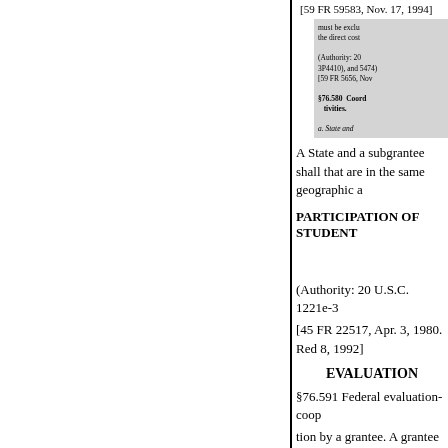[59 FR 59583, Nov. 17, 1994]
must be exclu the direct cost
(Authority: 20 3P4410), and 5474) [59 FR 5656, Nov
§76.580 Coord tivities.
a. State and
A State and a subgrantee shall that are in the same geographic a
PARTICIPATION OF STUDENT
(Authority: 20 U.S.C. 1221e-3
[45 FR 22517, Apr. 3, 1980. Red 8, 1992]
EVALUATION
§76.591 Federal evaluation-coop
tion by a grantee. A grantee shall
§76.650 Private schools; purpose
$$76.651-76.662. (a) Under so subgrantees provide for participa to those programs and provide m